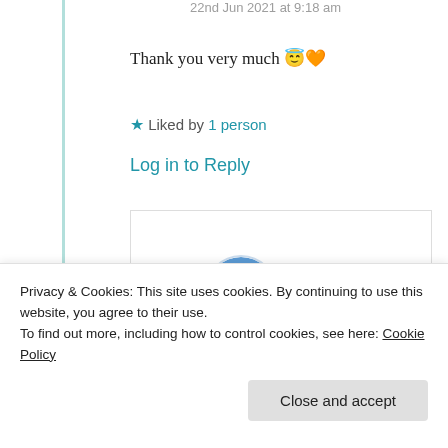22nd Jun 2021 at 9:18 am
Thank you very much 😇🧡
★ Liked by 1 person
Log in to Reply
[Figure (photo): Circular avatar showing a tree on a small island surrounded by water, blue sky background]
Yernasia Quorelios
22nd Jun 2021 at
Privacy & Cookies: This site uses cookies. By continuing to use this website, you agree to their use.
To find out more, including how to control cookies, see here: Cookie Policy
Close and accept